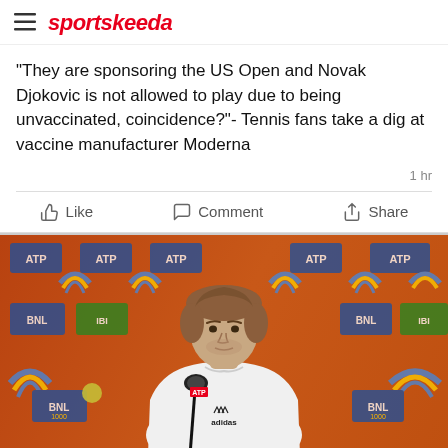sportskeeda
"They are sponsoring the US Open and Novak Djokovic is not allowed to play due to being unvaccinated, coincidence?"- Tennis fans take a dig at vaccine manufacturer Moderna
1 hr
Like   Comment   Share
[Figure (photo): A young male tennis player with curly brown hair wearing a white Adidas hoodie, sitting in front of an orange ATP press conference backdrop with blue and yellow logo elements and a microphone in front of him.]